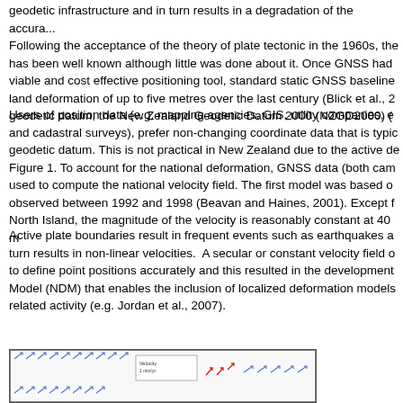geodetic infrastructure and in turn results in a degradation of the accura... Following the acceptance of the theory of plate tectonic in the 1960s, the... has been well known although little was done about it. Once GNSS had... viable and cost effective positioning tool, standard static GNSS baseline... land deformation of up to five metres over the last century (Blick et al., 2... geodetic datum, the New Zealand Geodetic Datum 2000 (NZGD2000) (...
Users of position data (e.g. mapping agencies, GIS, utility companies, e... and cadastral surveys), prefer non-changing coordinate data that is typic... geodetic datum. This is not practical in New Zealand due to the active de... Figure 1. To account for the national deformation, GNSS data (both cam... used to compute the national velocity field. The first model was based o... observed between 1992 and 1998 (Beavan and Haines, 2001). Except f... North Island, the magnitude of the velocity is reasonably constant at 40 ...
Active plate boundaries result in frequent events such as earthquakes a... turn results in non-linear velocities. A secular or constant velocity field ... to define point positions accurately and this resulted in the development... Model (NDM) that enables the inclusion of localized deformation models... related activity (e.g. Jordan et al., 2007).
[Figure (other): Partial view of a velocity field map showing arrows indicating direction and magnitude of land movement, with a legend box visible.]